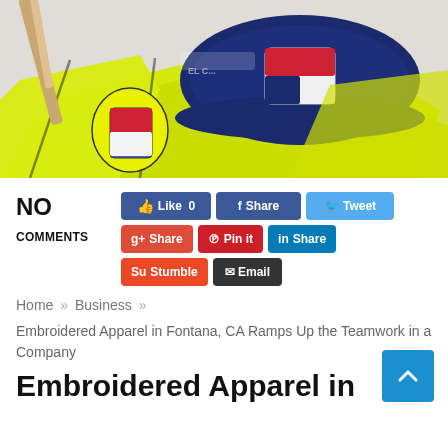[Figure (photo): Photo showing yellow hi-vis vests/jackets with embroidered logos and a navy blue cap with US shield emblem, along with tools in the background]
NO COMMENTS
[Figure (infographic): Social sharing buttons: Like 0 (Facebook), Share (Facebook), Tweet (Twitter), Share (Google+), Pin it (Pinterest), Share (LinkedIn), Stumble (StumbleUpon), Email]
Home » Business »
Embroidered Apparel in Fontana, CA Ramps Up the Teamwork in a Company
Embroidered Apparel in